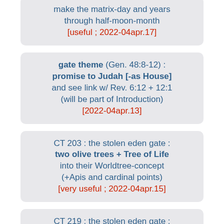make the matrix-day and years through half-moon-month [useful; 2022-04apr.17]
gate theme (Gen. 48:8-12) : promise to Judah [-as House] and see link w/ Rev. 6:12 + 12:1 (will be part of Introduction) [2022-04apr.13]
CT 203 : the stolen eden gate : two olive trees + Tree of Life into their Worldtree-concept (+Apis and cardinal points) [very useful; 2022-04apr.15]
CT 219 : the stolen eden gate : as spherical dome of serpents [useful; 2022-04apr.13]